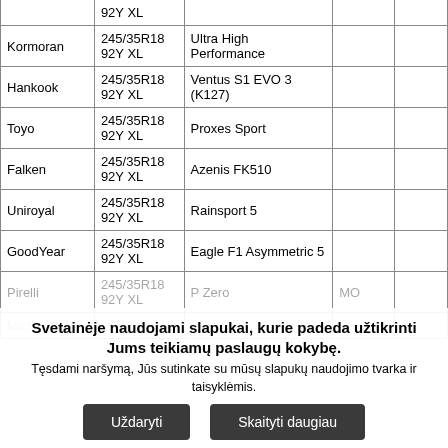| Brand | Size | Model | Notes |  |
| --- | --- | --- | --- | --- |
|  | 92Y XL |  |  |  |
| Kormoran | 245/35R18 92Y XL | Ultra High Performance |  |  |
| Hankook | 245/35R18 92Y XL | Ventus S1 EVO 3 (K127) |  |  |
| Toyo | 245/35R18 92Y XL | Proxes Sport |  |  |
| Falken | 245/35R18 92Y XL | Azenis FK510 |  |  |
| Uniroyal | 245/35R18 92Y XL | Rainsport 5 |  |  |
| GoodYear | 245/35R18 92Y XL | Eagle F1 Asymmetric 5 |  |  |
| Pirelli | 245/35R18 92Y XL | P Zero | MO |  |
| Michelin |  |  |  |  |
Svetainėje naudojami slapukai, kurie padeda užtikrinti Jums teikiamų paslaugų kokybę.
Tęsdami naršymą, Jūs sutinkate su mūsų slapukų naudojimo tvarka ir taisyklėmis.
Uždaryti | Skaityti daugiau